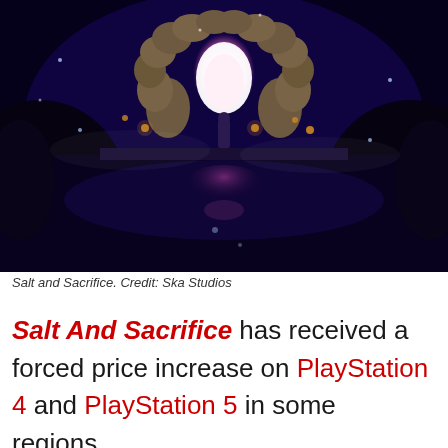[Figure (screenshot): Screenshot from Salt and Sacrifice video game showing a character standing before a glowing pink/white portal arch made of stone, in a dark blue fantasy environment with candles and reflections on water.]
Salt and Sacrifice. Credit: Ska Studios
Salt And Sacrifice has received a forced price increase on PlayStation 4 and PlayStation 5 in some regions.